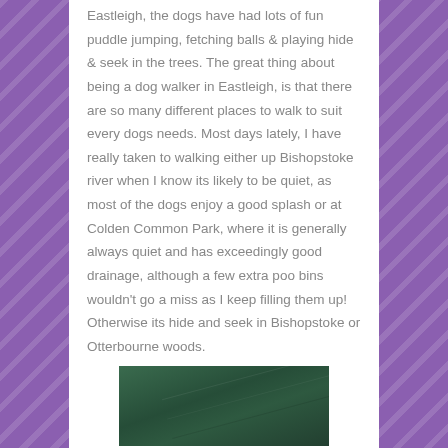Eastleigh, the dogs have had lots of fun puddle jumping, fetching balls & playing hide & seek in the trees. The great thing about being a dog walker in Eastleigh, is that there are so many different places to walk to suit every dogs needs. Most days lately, I have really taken to walking either up Bishopstoke river when I know its likely to be quiet, as most of the dogs enjoy a good splash or at Colden Common Park, where it is generally always quiet and has exceedingly good drainage, although a few extra poo bins wouldn't go a miss as I keep filling them up! Otherwise its hide and seek in Bishopstoke or Otterbourne woods.
[Figure (photo): A dark green textured surface, possibly a wooden board or outdoor mat, partially visible at the bottom of the page.]